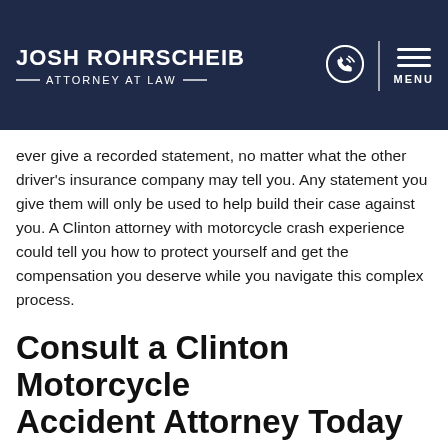JOSH ROHRSCHEIB — ATTORNEY AT LAW —
ever give a recorded statement, no matter what the other driver's insurance company may tell you. Any statement you give them will only be used to help build their case against you. A Clinton attorney with motorcycle crash experience could tell you how to protect yourself and get the compensation you deserve while you navigate this complex process.
Consult a Clinton Motorcycle Accident Attorney Today
Talking with a Clinton motorcycle accident lawyer could be the first step toward financial compensation. An initial consultation with our team is always free of charge. Call today and let us help you get the